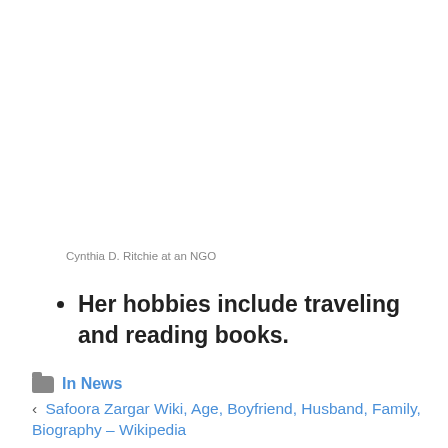Cynthia D. Ritchie at an NGO
Her hobbies include traveling and reading books.
In News
< Safoora Zargar Wiki, Age, Boyfriend, Husband, Family, Biography – Wikipedia